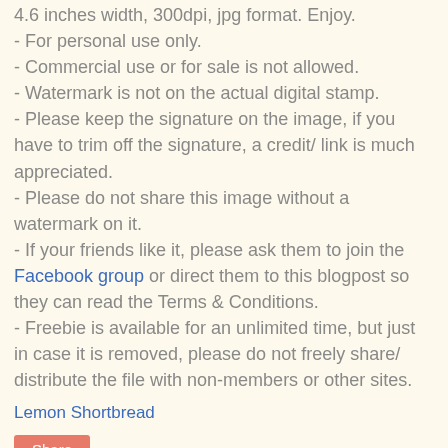4.6 inches width, 300dpi, jpg format. Enjoy.
- For personal use only.
- Commercial use or for sale is not allowed.
- Watermark is not on the actual digital stamp.
- Please keep the signature on the image, if you have to trim off the signature, a credit/ link is much appreciated.
- Please do not share this image without a watermark on it.
- If your friends like it, please ask them to join the Facebook group or direct them to this blogpost so they can read the Terms & Conditions.
- Freebie is available for an unlimited time, but just in case it is removed, please do not freely share/ distribute the file with non-members or other sites.
Lemon Shortbread
Share
2 comments:
https://www.topbritishessays.com/ November 21, 2017 at 5:45 PM